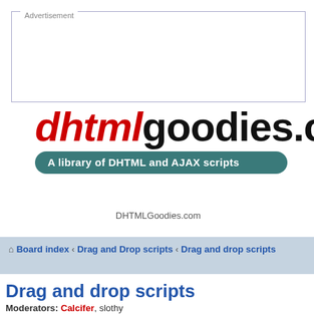[Figure (other): Advertisement placeholder box with label 'Advertisement' at top left]
dhtmlgoodies.com
A library of DHTML and AJAX scripts
DHTMLGoodies.com
Board index ‹ Drag and Drop scripts ‹ Drag and drop scripts
Drag and drop scripts
Moderators: Calcifer, slothy